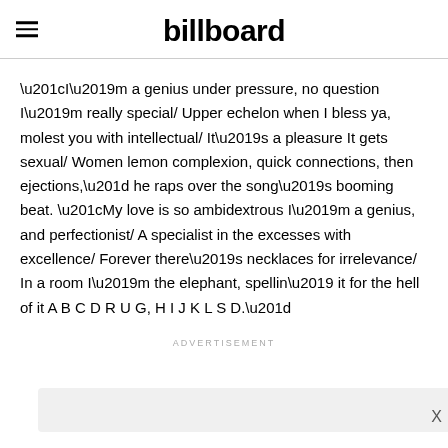billboard
“I’m a genius under pressure, no question I’m really special/ Upper echelon when I bless ya, molest you with intellectual/ It’s a pleasure It gets sexual/ Women lemon complexion, quick connections, then ejections,” he raps over the song’s booming beat. “My love is so ambidextrous I’m a genius, and perfectionist/ A specialist in the excesses with excellence/ Forever there’s necklaces for irrelevance/ In a room I’m the elephant, spellin’ it for the hell of it A B C D R U G, H I J K L S D.”
ADVERTISEMENT